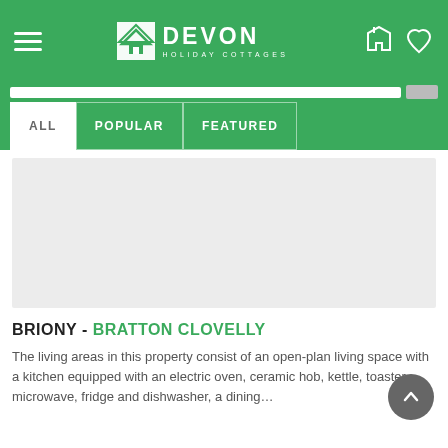Devon Holiday Cottages
BRIONY - BRATTON CLOVELLY
The living areas in this property consist of an open-plan living space with a kitchen equipped with an electric oven, ceramic hob, kettle, toaster, microwave, fridge and dishwasher, a dining…